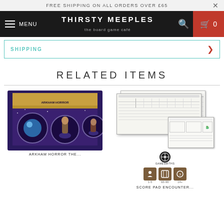FREE SHIPPING ON ALL ORDERS OVER £65
[Figure (screenshot): Thirsty Meeples board game café navigation bar with hamburger menu, logo, search icon, and cart button showing 0 items]
SHIPPING
RELATED ITEMS
[Figure (photo): Left product: Arkham Horror board game box set with purple cosmic art. Right product: Score pad sheets and character/encounter card sheets with publisher logo and category icons]